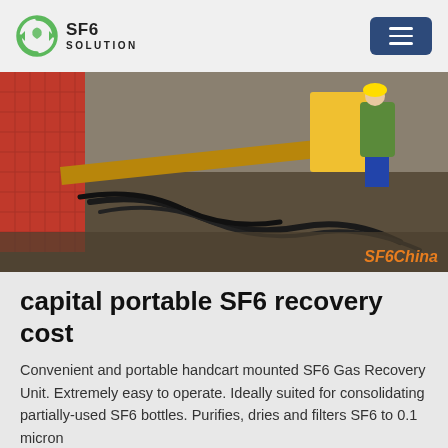SF6 SOLUTION
[Figure (photo): Outdoor industrial site showing heavy cables and hoses on the ground with a worker in a high-visibility vest in the background, next to large red and yellow industrial equipment. Watermark reads 'SF6China'.]
capital portable SF6 recovery cost
Convenient and portable handcart mounted SF6 Gas Recovery Unit. Extremely easy to operate. Ideally suited for consolidating partially-used SF6 bottles. Purifies, dries and filters SF6 to 0.1 micron